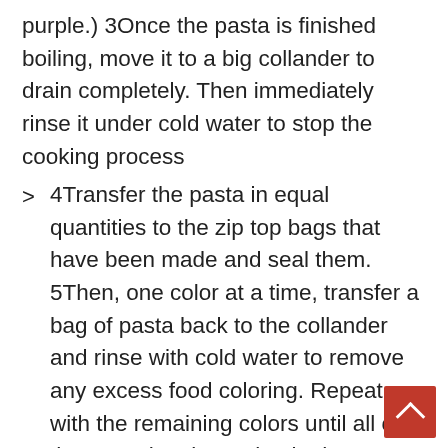purple.) 3Once the pasta is finished boiling, move it to a big collander to drain completely. Then immediately rinse it under cold water to stop the cooking process
4Transfer the pasta in equal quantities to the zip top bags that have been made and seal them. 5Then, one color at a time, transfer a bag of pasta back to the collander and rinse with cold water to remove any excess food coloring. Repeat with the remaining colors until all of the pasta has been dyed. Then return the pasta to the pot from which it was cooked. Continue with